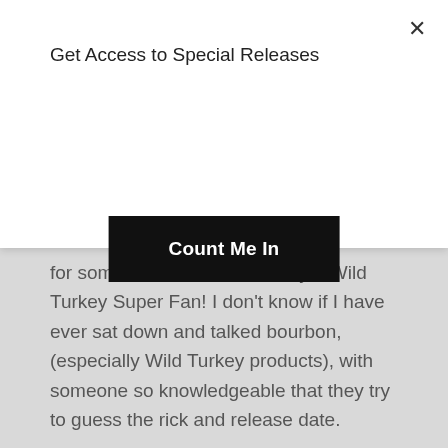Get Access to Special Releases
Count Me In
for someone who is essentially a Wild Turkey Super Fan! I don’t know if I have ever sat down and talked bourbon, (especially Wild Turkey products), with someone so knowledgeable that they try to guess the rick and release date.
When “The Bourbon Road” crew got a chance to talk to David, we were blown away by the knowledge all packaged up in this one young guy. His nose and palate are incredible – which didn’t